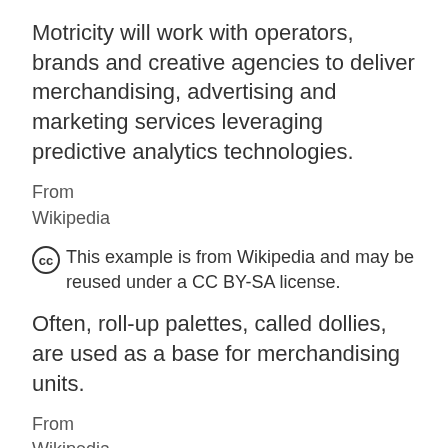Motricity will work with operators, brands and creative agencies to deliver merchandising, advertising and marketing services leveraging predictive analytics technologies.
From
Wikipedia
This example is from Wikipedia and may be reused under a CC BY-SA license.
Often, roll-up palettes, called dollies, are used as a base for merchandising units.
From
Wikipedia
This example is from Wikipedia and may be reused under a CC BY-SA license.